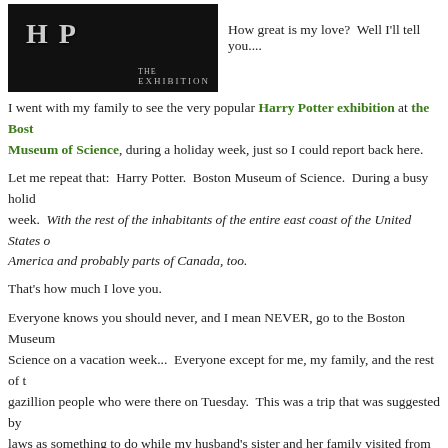[Figure (photo): Dark background image with Harry Potter The Exhibition logo/title text]
How great is my love?  Well I'll tell you....
I went with my family to see the very popular Harry Potter exhibition at the Boston Museum of Science, during a holiday week, just so I could report back here.
Let me repeat that:  Harry Potter.  Boston Museum of Science.  During a busy holiday week.  With the rest of the inhabitants of the entire east coast of the United States of America and probably parts of Canada, too.
That's how much I love you.
Everyone knows you should never, and I mean NEVER, go to the Boston Museum of Science on a vacation week...  Everyone except for me, my family, and the rest of the gazillion people who were there on Tuesday.  This was a trip that was suggested by my in-laws as something to do while my husband's sister and her family visited from the midwest and I will admit that at the time it seemed like an intriguing idea.  That was before the reality of the situation hit me.  And then tickets weren't purchased ahead of time...  did I mention it was a vacation week?
Let me back up a bit.
The temporary exhibit, housed in the Nichols Gallery, showcases 200 original piece